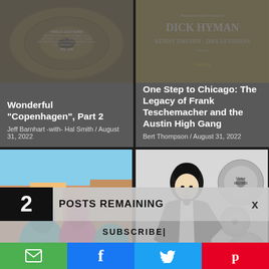[Figure (photo): Record label for Frisco Jazz Band, MS-148, with performers listed including Pat Patton, Jack Buck, Jack Crook, Ray Janssen, Gordon Edwards, Ross Bennett]
Wonderful “Copenhagen”, Part 2
Jeff Barnhart -with- Hal Smith / August 31, 2022
[Figure (photo): Album cover featuring Dick Hyman, Kenny Davern, Dan Levinson - One Step to Chicago: The Legacy of Frank Teschemacher and the Austin High Gang]
One Step to Chicago: The Legacy of Frank Teschemacher and the Austin High Gang
Bert Thompson / August 31, 2022
[Figure (photo): Outdoor street scene with performers in colorful blue and pink feathered costumes, carnival or parade setting with European-style buildings]
[Figure (illustration): Black and white illustration of a jazz musician in a tuxedo holding a trumpet, surrounded by Victor and Arto record labels]
2 POSTS REMAINING x
SUBSCRIBE